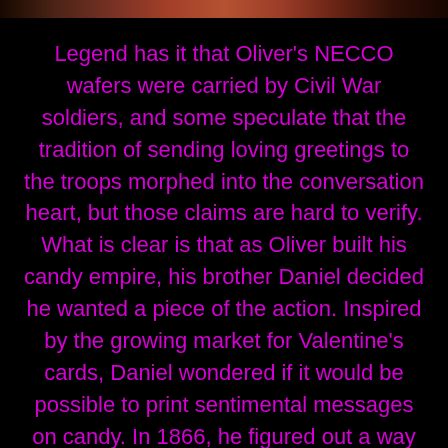[Figure (photo): Partial image strip at the top of the page, showing a cropped photo with warm reddish-brown tones.]
Legend has it that Oliver's NECCO wafers were carried by Civil War soldiers, and some speculate that the tradition of sending loving greetings to the troops morphed into the conversation heart, but those claims are hard to verify. What is clear is that as Oliver built his candy empire, his brother Daniel decided he wanted a piece of the action. Inspired by the growing market for Valentine's cards, Daniel wondered if it would be possible to print sentimental messages on candy. In 1866, he figured out a way to print words on candy with vegetable dye during the cutting process.People loved conversation candies (they weren't available in heart shapes until 1902 though, and their witty messages,